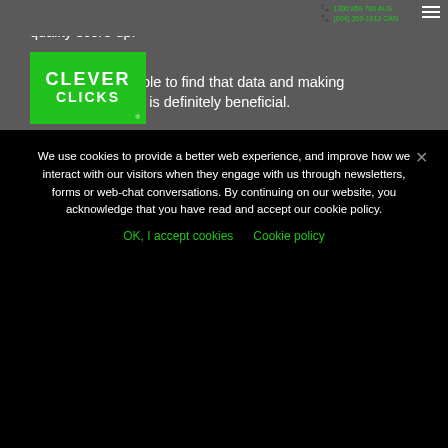it's going towards the positive route working to get that quality score up.
[Figure (logo): Clever Clicks logo - green rectangle with white text CLEVER CLICKS]
1300 859 700 AUS
(604) 359-1812 CAN
Using the pivot table to find that data and making adjustments there is definitely beneficial.
We use cookies to provide a better web experience, and improve how we interact with our visitors when they engage with us through newsletters, forms or web-chat conversations. By continuing on our website, you acknowledge that you have read and accept our cookie policy.
OK, I accept cookies
Cookie policy